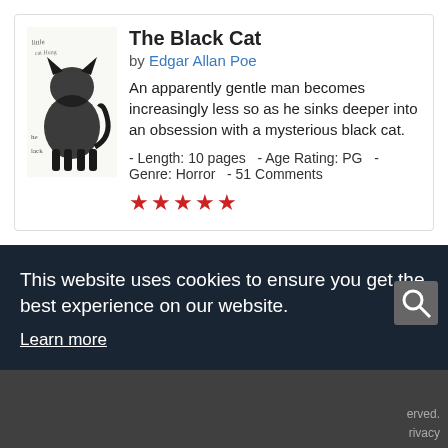[Figure (illustration): Sketch/drawing of a black cat]
The Black Cat
by Edgar Allan Poe
An apparently gentle man becomes increasingly less so as he sinks deeper into an obsession with a mysterious black cat.
- Length: 10 pages   - Age Rating: PG   - Genre: Horror   - 51 Comments
★★★★★
[Figure (logo): shortstories website logo]
This website uses cookies to ensure you get the best experience on our website.
Learn more
erved.
rivacy
Got it!